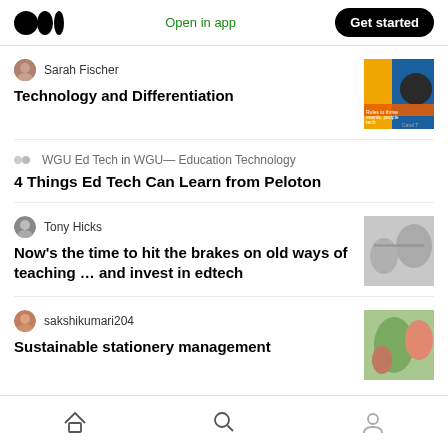Open in app | Get started
Sarah Fischer — Technology and Differentiation
WGU Ed Tech in WGU— Education Technology — 4 Things Ed Tech Can Learn from Peloton
Tony Hicks — Now's the time to hit the brakes on old ways of teaching … and invest in edtech
sakshikumari204 — Sustainable stationery management
Home | Search | Profile